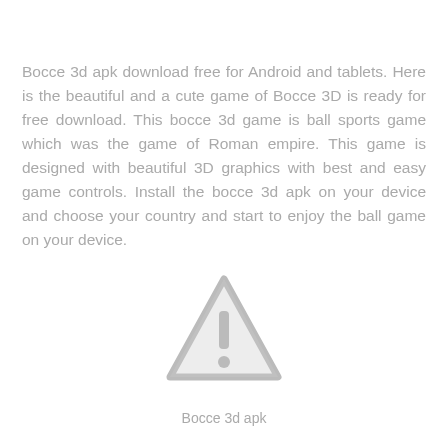Bocce 3d apk download free for Android and tablets. Here is the beautiful and a cute game of Bocce 3D is ready for free download. This bocce 3d game is ball sports game which was the game of Roman empire. This game is designed with beautiful 3D graphics with best and easy game controls. Install the bocce 3d apk on your device and choose your country and start to enjoy the ball game on your device.
[Figure (illustration): A grey warning/caution triangle icon with an exclamation mark inside]
Bocce 3d apk